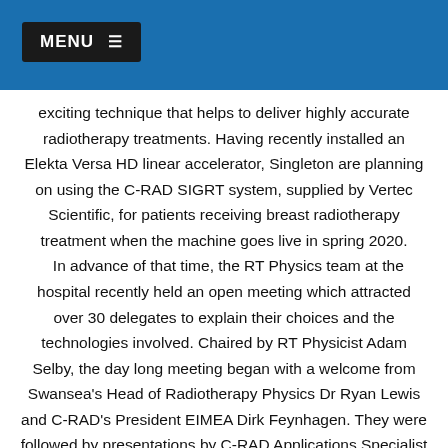MENU
exciting technique that helps to deliver highly accurate radiotherapy treatments. Having recently installed an Elekta Versa HD linear accelerator, Singleton are planning on using the C-RAD SIGRT system, supplied by Vertec Scientific, for patients receiving breast radiotherapy treatment when the machine goes live in spring 2020.
In advance of that time, the RT Physics team at the hospital recently held an open meeting which attracted over 30 delegates to explain their choices and the technologies involved. Chaired by RT Physicist Adam Selby, the day long meeting began with a welcome from Swansea's Head of Radiotherapy Physics Dr Ryan Lewis and C-RAD's President EIMEA Dirk Feynhagen. They were followed by presentations by C-RAD Applications Specialist Beatrice Akinrimisi who touched on the system options, clinical application and workflow and the impact of the system in other RT centres. Singleton's Adam Selby then detailed the team's experience with C-RAD, why they chose it in the first place and